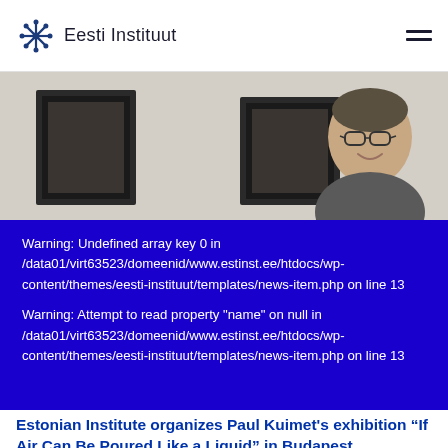Eesti Instituut
[Figure (photo): A man with glasses smiling, standing in front of white brick wall with framed artworks in the background]
Warning: Undefined array key 0 in /data01/virt63523/domeenid/www.estinst.ee/htdocs/wp-content/themes/eesti-instituut/templates/news-item.php on line 13
Warning: Attempt to read property "name" on null in /data01/virt63523/domeenid/www.estinst.ee/htdocs/wp-content/themes/eesti-instituut/templates/news-item.php on line 13
Estonian Institute organizes Paul Kuimet's exhibition “If Air Can Be Poured Like a Liquid” in Budapest